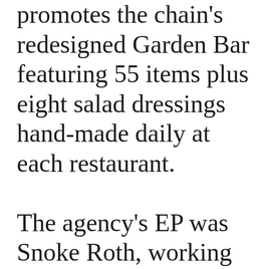promotes the chain's redesigned Garden Bar featuring 55 items plus eight salad dressings hand-made daily at each restaurant.

The agency's EP was Snoke Roth, working